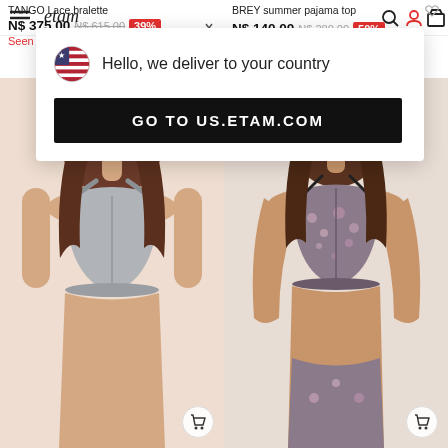Etam website header with navigation icons
[Figure (screenshot): Popup notification with US flag icon and text 'Hello, we deliver to your country' and a black button 'GO TO US.ETAM.COM']
TANGO Lace bralette
N$ 375,00   N$ 615,00   39%
Seen on the catwalk
BREY summer pajama top
N$ 140,00   N$ 280,00   50%
1 + 1 = 3 on Sale* 🔥
[Figure (photo): Woman wearing a grey triangle bralette against a beige background]
[Figure (photo): Woman wearing a floral/printed triangle bralette with black straps against a beige background]